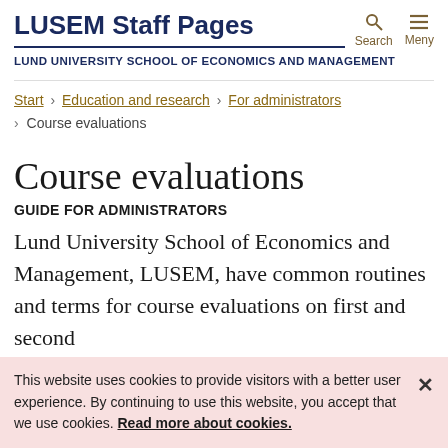LUSEM Staff Pages
LUND UNIVERSITY SCHOOL OF ECONOMICS AND MANAGEMENT
Start › Education and research › For administrators › Course evaluations
Course evaluations
GUIDE FOR ADMINISTRATORS
Lund University School of Economics and Management, LUSEM, have common routines and terms for course evaluations on first and second
This website uses cookies to provide visitors with a better user experience. By continuing to use this website, you accept that we use cookies. Read more about cookies.